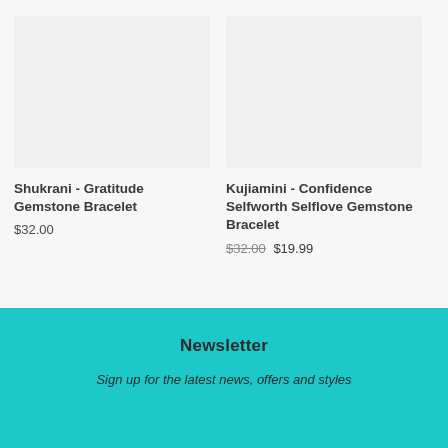[Figure (photo): Product image placeholder for Shukrani Gratitude Gemstone Bracelet, light gray background]
Shukrani - Gratitude Gemstone Bracelet
$32.00
[Figure (photo): Product image placeholder for Kujiamini Confidence Selfworth Selflove Gemstone Bracelet, light gray background]
Kujiamini - Confidence Selfworth Selflove Gemstone Bracelet
$32.00 $19.99
Newsletter
Sign up for the latest news, offers and styles